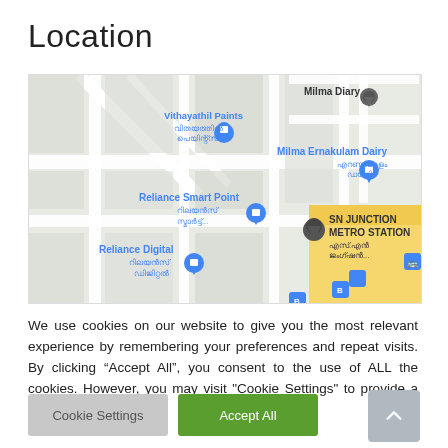Location
[Figure (map): Google Maps embed showing SN Junction Metro Station area in Ernakulam, Kerala, India. Visible landmarks include Milma Diary, Vithayathil Paints, Milma Ernakulam Dairy, Reliance Smart Point, Reliance Digital, SN Junction Metro Station with Malayalam script labels.]
We use cookies on our website to give you the most relevant experience by remembering your preferences and repeat visits. By clicking “Accept All”, you consent to the use of ALL the cookies. However, you may visit "Cookie Settings" to provide a controlled consent.